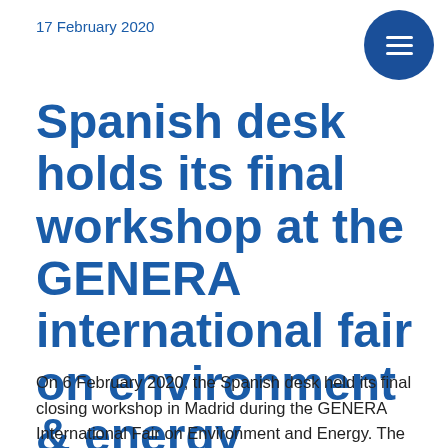17 February 2020
Spanish desk holds its final workshop at the GENERA international fair on environment & energy
On 6 February 2020, the Spanish desk held its final closing workshop in Madrid during the GENERA International Fair on Environment and Energy. The objective of the national